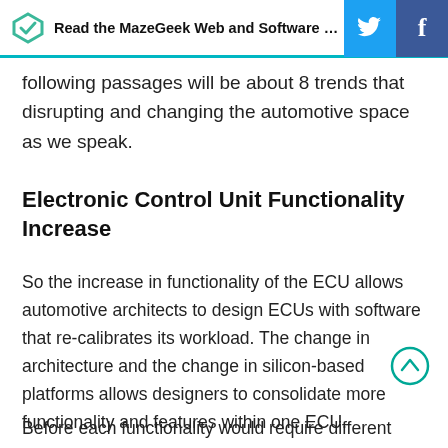Read the MazeGeek Web and Software Development Blog
following passages will be about 8 trends that disrupting and changing the automotive space as we speak.
Electronic Control Unit Functionality Increase
So the increase in functionality of the ECU allows automotive architects to design ECUs with software that re-calibrates its workload. The change in architecture and the change in silicon-based platforms allows designers to consolidate more functionality and features within one ECU.
Before each functionality would require different